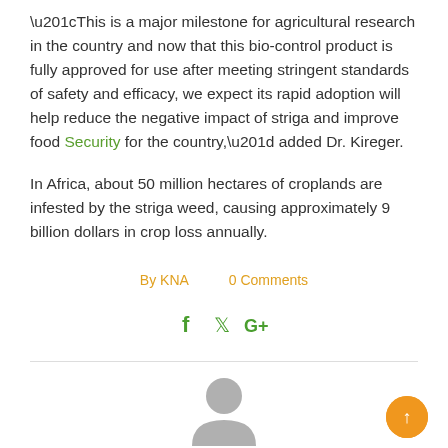“This is a major milestone for agricultural research in the country and now that this bio-control product is fully approved for use after meeting stringent standards of safety and efficacy, we expect its rapid adoption will help reduce the negative impact of striga and improve food Security for the country,” added Dr. Kireger.
In Africa, about 50 million hectares of croplands are infested by the striga weed, causing approximately 9 billion dollars in crop loss annually.
By KNA   0 Comments
[Figure (other): Social media share icons: Facebook (f), Twitter (bird), Google+ (G+) in green]
[Figure (other): Gray avatar/user profile placeholder icon (partial, bottom of page)]
[Figure (other): Orange circular scroll-to-top button with upward arrow, bottom right corner]